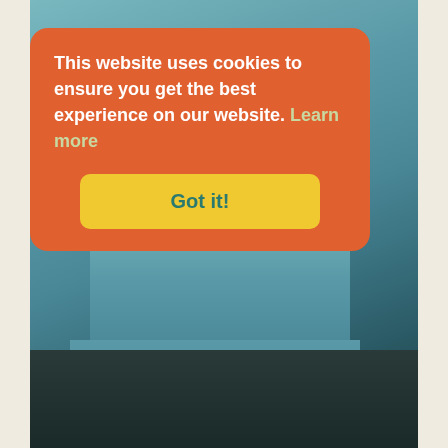[Figure (photo): Interior of a vintage vehicle showing blue/teal vinyl bench seat with wear, dark worn carpet on floor, and door frame visible on right side.]
This website uses cookies to ensure you get the best experience on our website. Learn more
Got it!